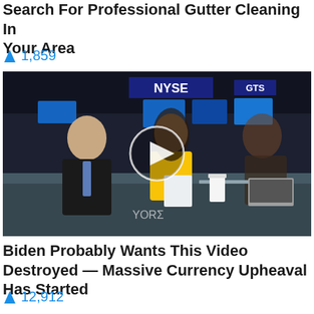Search For Professional Gutter Cleaning In Your Area
🔥 1,859
[Figure (photo): Video thumbnail showing people at NYSE trading floor desk with a play button overlay. A man in a suit and blue tie sits on the left, a woman in yellow is in the center, and another person on the right. NYSE sign visible in background. YORΣ watermark visible.]
Biden Probably Wants This Video Destroyed — Massive Currency Upheaval Has Started
🔥 12,912
[Figure (photo): Partial view of a reddish-toned image, appears to show food or flowers, cropped at the bottom of the page.]